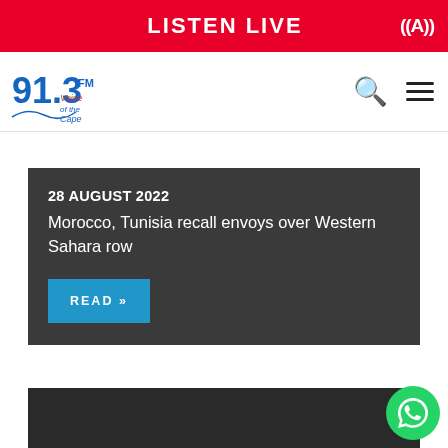LISTEN LIVE
[Figure (logo): 91.3 FM Voice of the Cape radio station logo with search and hamburger menu icons]
28 AUGUST 2022
Morocco, Tunisia recall envoys over Western Sahara row
READ »
[Figure (photo): Dark/black news article card placeholder image]
[Figure (logo): WhatsApp chat button icon in bottom right corner]